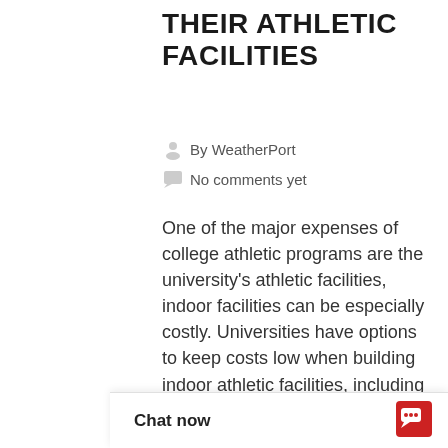THEIR ATHLETIC FACILITIES
By WeatherPort
No comments yet
One of the major expenses of college athletic programs are the university's athletic facilities, indoor facilities can be especially costly. Universities have options to keep costs low when building indoor athletic facilities, including fabric athletic facilities. For example, Colorado Mesa University uses indoor